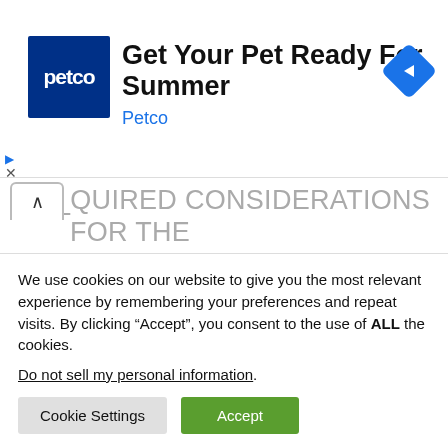[Figure (other): Petco advertisement banner with Petco logo (dark blue square with 'petco' text), headline 'Get Your Pet Ready For Summer', subtext 'Petco', and a blue diamond navigation icon on the right]
EQUIRED CONSIDERATIONS FOR THE WEBSITE GRANTING YOU THE RIGHT TO VISIT, READ, RESELL, TRANSACT, PROCESS PAYMENTS FOR OR INTERACT WITH IT IN ANY WAY. BY VISITING THIS WEBSITE YOU ARE ACKNOWLEDGING THAT ALL TERMS
We use cookies on our website to give you the most relevant experience by remembering your preferences and repeat visits. By clicking “Accept”, you consent to the use of ALL the cookies.
Do not sell my personal information.